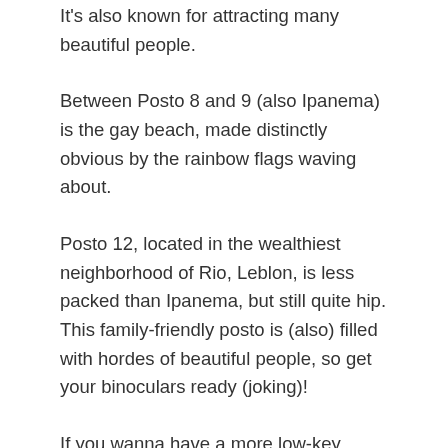It's also known for attracting many beautiful people.
Between Posto 8 and 9 (also Ipanema) is the gay beach, made distinctly obvious by the rainbow flags waving about.
Posto 12, located in the wealthiest neighborhood of Rio, Leblon, is less packed than Ipanema, but still quite hip. This family-friendly posto is (also) filled with hordes of beautiful people, so get your binoculars ready (joking)!
If you wanna have a more low-key beach day (with fewer people) head to Posto 1 (Leme beach).